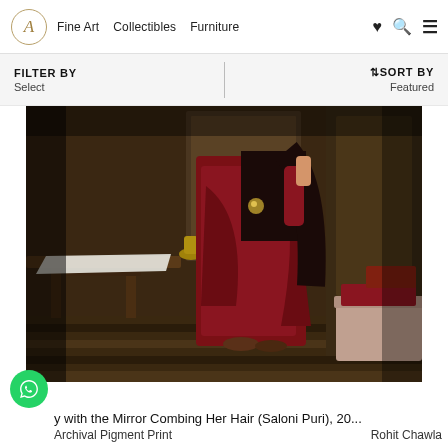A  Fine Art  Collectibles  Furniture  [heart] [search] [menu]
FILTER BY
Select
|
↑↓SORT BY
Featured
[Figure (photo): Photograph of a woman in a deep red/maroon sari standing in a richly decorated interior room with antique furniture, a white cloth on a wooden table, and a striped floor. The scene has warm, dark tones reminiscent of classical painting style.]
y with the Mirror Combing Her Hair (Saloni Puri), 20...
Archival Pigment Print                    Rohit Chawla